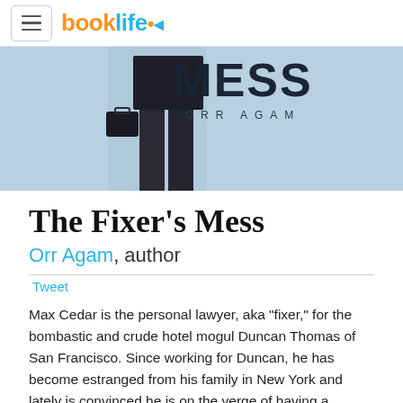booklife
[Figure (photo): Book cover of 'The Fixer's Mess' by Orr Agam showing a man in dark suit carrying a briefcase with the title MESS and author name ORR AGAM on a blue background]
The Fixer's Mess
Orr Agam, author
Tweet
Max Cedar is the personal lawyer, aka "fixer," for the bombastic and crude hotel mogul Duncan Thomas of San Francisco. Since working for Duncan, he has become estranged from his family in New York and lately is convinced he is on the verge of having a stroke. When Duncan orders Max to "fix" a newspaper story about an alleged affair between Duncan and a stripper named London, things begin